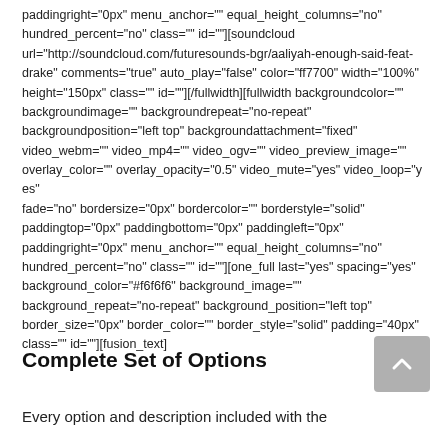paddingright="0px" menu_anchor="" equal_height_columns="no" hundred_percent="no" class="" id=""][soundcloud url="http://soundcloud.com/futuresounds-bgr/aaliyah-enough-said-feat-drake" comments="true" auto_play="false" color="ff7700" width="100%" height="150px" class="" id=""][/fullwidth][fullwidth backgroundcolor="" backgroundimage="" backgroundrepeat="no-repeat" backgroundposition="left top" backgroundattachment="fixed" video_webm="" video_mp4="" video_ogv="" video_preview_image="" overlay_color="" overlay_opacity="0.5" video_mute="yes" video_loop="yes" fade="no" bordersize="0px" bordercolor="" borderstyle="solid" paddingtop="0px" paddingbottom="0px" paddingleft="0px" paddingright="0px" menu_anchor="" equal_height_columns="no" hundred_percent="no" class="" id=""][one_full last="yes" spacing="yes" background_color="#f6f6f6" background_image="" background_repeat="no-repeat" background_position="left top" border_size="0px" border_color="" border_style="solid" padding="40px" class="" id=""][fusion_text]
Complete Set of Options
Every option and description included with the